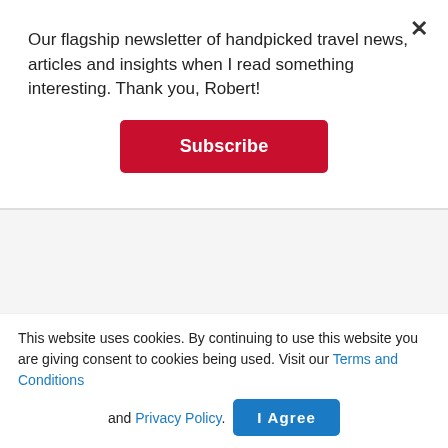Our flagship newsletter of handpicked travel news, articles and insights when I read something interesting. Thank you, Robert!
Subscribe
[Figure (other): Light gray empty advertisement or content placeholder box]
Currently, Qantas has a number of goals to reach
This website uses cookies. By continuing to use this website you are giving consent to cookies being used. Visit our Terms and Conditions and Privacy Policy.
I Agree